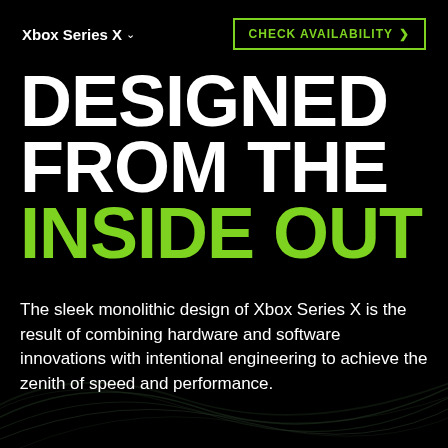Xbox Series X ˅
CHECK AVAILABILITY ›
DESIGNED FROM THE INSIDE OUT
The sleek monolithic design of Xbox Series X is the result of combining hardware and software innovations with intentional engineering to achieve the zenith of speed and performance.